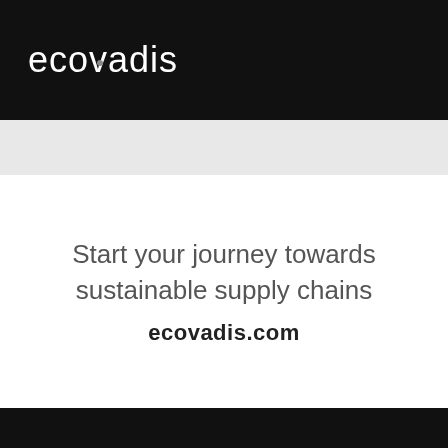[Figure (logo): EcoVadis logo in white text on black background header bar]
Start your journey towards sustainable supply chains
ecovadis.com